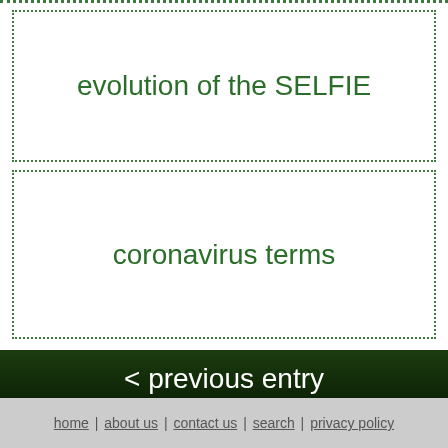evolution of the SELFIE
coronavirus terms
< previous entry
next entry >
home | about us | contact us | search | privacy policy